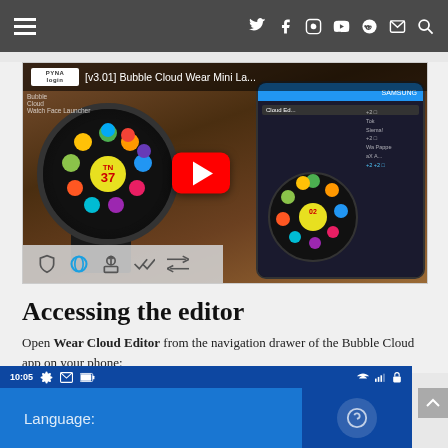Navigation header with hamburger menu and social icons (Twitter, Facebook, Instagram, YouTube, Reddit, Email, Search)
[Figure (screenshot): YouTube video thumbnail showing '[v3.01] Bubble Cloud Wear Mini La...' with a smartwatch displaying colorful bubble app icons, a Samsung smartphone, and a red YouTube play button in the center. Bottom left shows video control icons.]
Accessing the editor
Open Wear Cloud Editor from the navigation drawer of the Bubble Cloud app on your phone:
[Figure (screenshot): Android phone screenshot showing blue navigation drawer with status bar (10:05, settings, mail, battery icons) and 'Language:' label, with a dark blue panel on the right containing a help icon.]